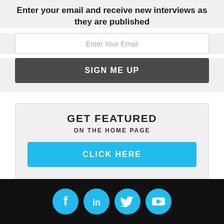Enter your email and receive new interviews as they are published
Enter Your Email
SIGN ME UP
GET FEATURED
ON THE HOME PAGE
CLICK HERE
[Figure (infographic): Social media icons: Facebook, LinkedIn, Twitter, YouTube — white icons on sky-blue circles arranged horizontally in a dark footer]